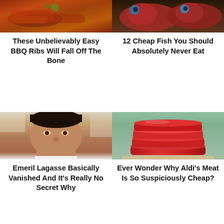[Figure (photo): Photo of BBQ ribs with glaze and garnish]
These Unbelievably Easy BBQ Ribs Will Fall Off The Bone
[Figure (photo): Photo of two red/pink fish heads on wooden surface]
12 Cheap Fish You Should Absolutely Never Eat
[Figure (photo): Photo of Emeril Lagasse chef portrait]
Emeril Lagasse Basically Vanished And It's Really No Secret Why
[Figure (photo): Photo of stacked raw red meat slices on light surface]
Ever Wonder Why Aldi's Meat Is So Suspiciously Cheap?